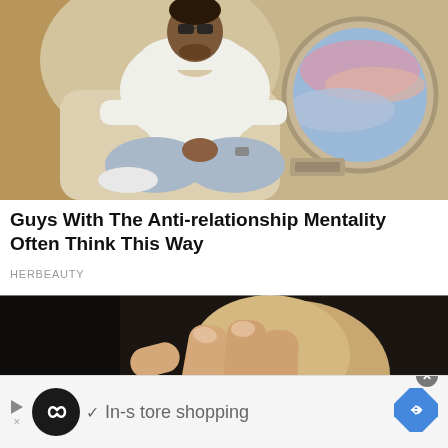[Figure (photo): A man wearing a white hoodie and light blue jeans sitting cross-legged in a luxury private jet seat, with a round airplane window showing pink and blue sky in the background]
Guys With The Anti-relationship Mentality Often Think This Way
HERBEAUTY
[Figure (photo): Close-up of fingers touching or holding a round tan/beige object against a dark background]
[Figure (screenshot): Advertisement bar showing: play button, infinity loop icon, checkmark, 'In-store shopping' text, and a blue diamond arrow icon]